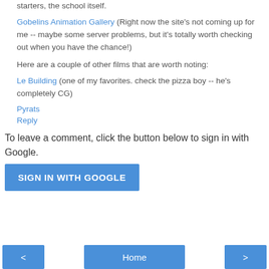starters, the school itself.
Gobelins Animation Gallery (Right now the site's not coming up for me -- maybe some server problems, but it's totally worth checking out when you have the chance!)
Here are a couple of other films that are worth noting:
Le Building (one of my favorites. check the pizza boy -- he's completely CG)
Pyrats
Reply
To leave a comment, click the button below to sign in with Google.
SIGN IN WITH GOOGLE
< | Home | >